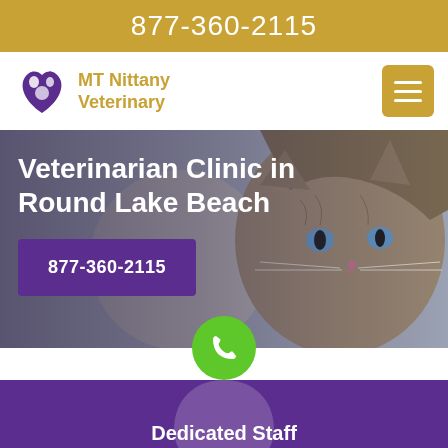877-360-2115
[Figure (logo): MT Nittany Veterinary logo with purple heart containing animal silhouettes]
MT Nittany Veterinary
[Figure (photo): Close-up photo of a tabby kitten with blue eyes against a blurred background]
Veterinarian Clinic in Round Lake Beach
877-360-2115
[Figure (illustration): Green circle phone call button]
Dedicated Staff
Dedicated vets at our veterinarian clinic provide an extensive range of veterinary services for pets, birds, and